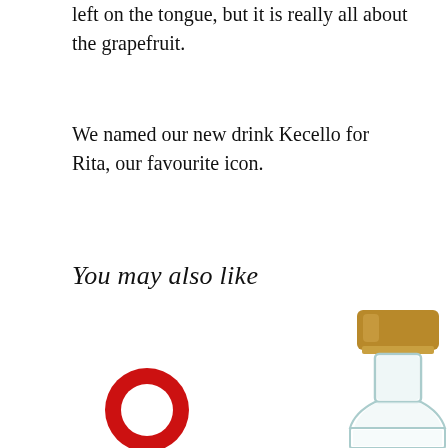left on the tongue, but it is really all about the grapefruit.
We named our new drink Kecello for Rita, our favourite icon.
You may also like
[Figure (photo): A clear glass bottle with a gold screw cap, containing a clear liquid, photographed on a white background. In the bottom-left corner is a red circular logo icon (ring/donut shape).]